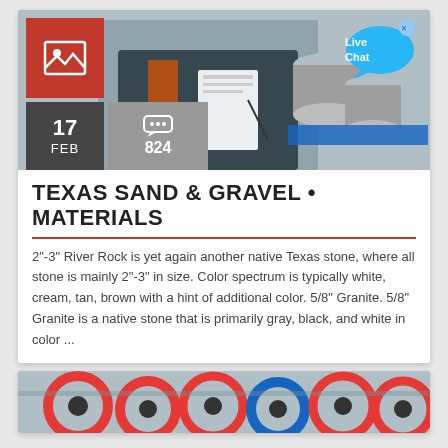[Figure (photo): Industrial worker in blue uniform and orange safety vest inspecting metallic cylindrical components on a blue pallet. Red image icon box in top-left corner.]
TEXAS SAND & GRAVEL • MATERIALS
2"-3" River Rock is yet again another native Texas stone, where all stone is mainly 2"-3" in size. Color spectrum is typically white, cream, tan, brown with a hint of additional color. 5/8" Granite. 5/8" Granite is a native stone that is primarily gray, black, and white in color ...
[Figure (photo): Industrial machinery parts - large circular components with red and blue rings/wheels in a factory setting.]